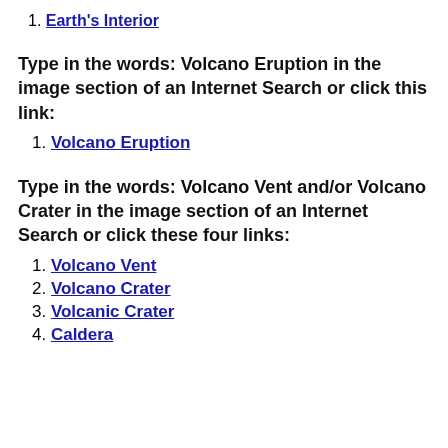1. Earth's Interior
Type in the words: Volcano Eruption in the image section of an Internet Search or click this link:
1. Volcano Eruption
Type in the words: Volcano Vent and/or Volcano Crater in the image section of an Internet Search or click these four links:
1. Volcano Vent
2. Volcano Crater
3. Volcanic Crater
4. Caldera